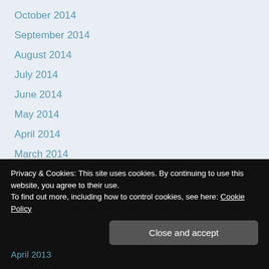October 2014
September 2014
August 2014
July 2014
June 2014
May 2014
April 2014
March 2014
February 2014
January 2014
December 2013
November 2013
October 2013
September 2013
April 2013
Privacy & Cookies: This site uses cookies. By continuing to use this website, you agree to their use.
To find out more, including how to control cookies, see here: Cookie Policy
Close and accept